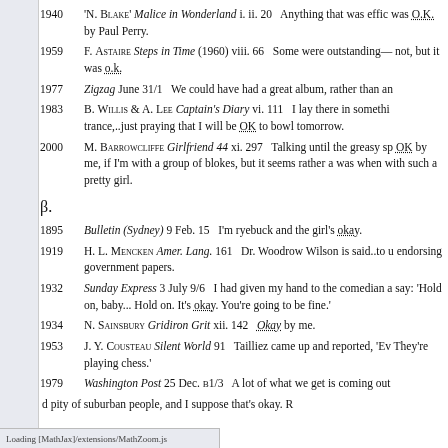1940 'N. Blake' Malice in Wonderland i. ii. 20   Anything that was effic was O.K. by Paul Perry.
1959 F. Astaire Steps in Time (1960) viii. 66   Some were outstanding— not, but it was o.k.
1977 Zigzag June 31/1   We could have had a great album, rather than an
1983 B. Willis & A. Lee Captain's Diary vi. 111   I lay there in somethi trance,..just praying that I will be OK to bowl tomorrow.
2000 M. Barrowcliffe Girlfriend 44 xi. 297   Talking until the greasy sp OK by me, if I'm with a group of blokes, but it seems rather a was when with such a pretty girl.
β.
1895 Bulletin (Sydney) 9 Feb. 15   I'm ryebuck and the girl's okay.
1919 H. L. Mencken Amer. Lang. 161   Dr. Woodrow Wilson is said..to u endorsing government papers.
1932 Sunday Express 3 July 9/6   I had given my hand to the comedian a say: 'Hold on, baby... Hold on. It's okay. You're going to be fine.'
1934 N. Sainsbury Gridiron Grit xii. 142   Okay by me.
1953 J. Y. Cousteau Silent World 91   Tailliez came up and reported, 'Ev They're playing chess.'
1979 Washington Post 25 Dec. B1/3   A lot of what we get is coming out
d pity of suburban people, and I suppose that's okay. R
Loading [MathJax]/extensions/MathZoom.js